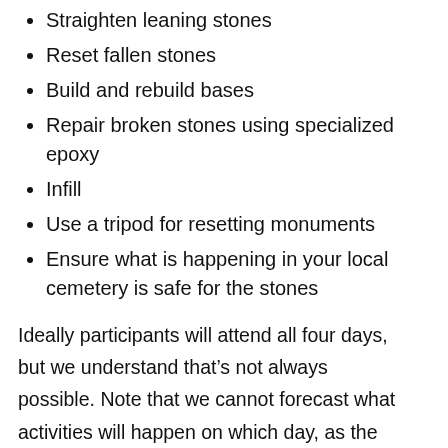Straighten leaning stones
Reset fallen stones
Build and rebuild bases
Repair broken stones using specialized epoxy
Infill
Use a tripod for resetting monuments
Ensure what is happening in your local cemetery is safe for the stones
Ideally participants will attend all four days, but we understand that’s not always possible. Note that we cannot forecast what activities will happen on which day, as the instruction and practice are based on what onsite damage we find as we work in the cemetery.
NOTE: This workshop will be directly followed by a work session with Joe Ferrannini from August 3-5.